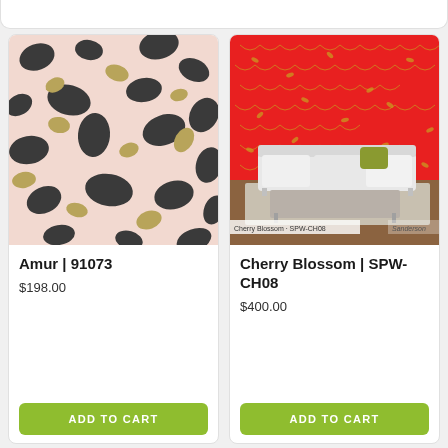[Figure (photo): Pink background leopard print wallpaper pattern with dark grey and gold brush stroke spots]
Amur | 91073
$198.00
ADD TO CART
[Figure (photo): Room scene with bright red floral wallpaper (Cherry Blossom), white sofa with olive pillow, and glass coffee table]
Cherry Blossom | SPW-CH08
$400.00
ADD TO CART